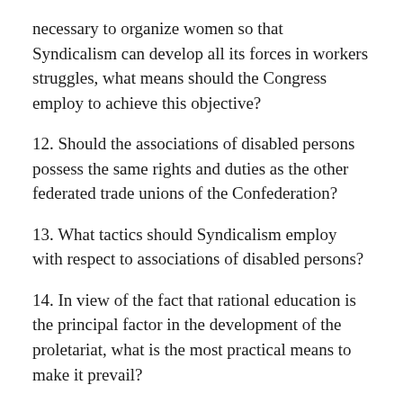necessary to organize women so that Syndicalism can develop all its forces in workers struggles, what means should the Congress employ to achieve this objective?
12. Should the associations of disabled persons possess the same rights and duties as the other federated trade unions of the Confederation?
13. What tactics should Syndicalism employ with respect to associations of disabled persons?
14. In view of the fact that rational education is the principal factor in the development of the proletariat, what is the most practical means to make it prevail?
15. Is the presence of a political group at the same location where societies of resistance meet beneficial or harmful for the working class, regardless of that